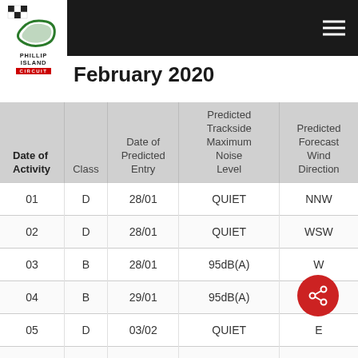Phillip Island Circuit
February 2020
| Date of Activity | Class | Date of Predicted Entry | Predicted Trackside Maximum Noise Level | Predicted Forecast Wind Direction |
| --- | --- | --- | --- | --- |
| 01 | D | 28/01 | QUIET | NNW |
| 02 | D | 28/01 | QUIET | WSW |
| 03 | B | 28/01 | 95dB(A) | W |
| 04 | B | 29/01 | 95dB(A) | SSE |
| 05 | D | 03/02 | QUIET | E |
| 06 | D | 03/02 | QUIET | E |